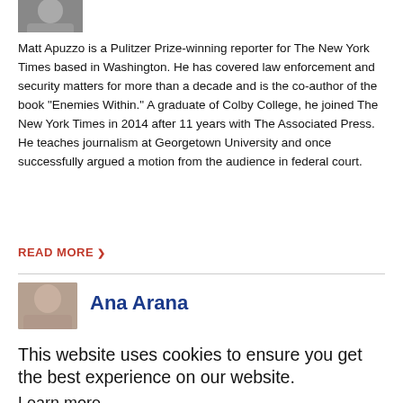[Figure (photo): Partial photo of Matt Apuzzo, cropped headshot]
Matt Apuzzo is a Pulitzer Prize-winning reporter for The New York Times based in Washington. He has covered law enforcement and security matters for more than a decade and is the co-author of the book "Enemies Within." A graduate of Colby College, he joined The New York Times in 2014 after 11 years with The Associated Press. He teaches journalism at Georgetown University and once successfully argued a motion from the audience in federal court.
READ MORE ❯
[Figure (photo): Partial photo of Ana Arana, cropped headshot]
Ana Arana
This website uses cookies to ensure you get the best experience on our website.
Learn more
Got it!
Allow cookies
international experience. A former U.S. foreign correspondent